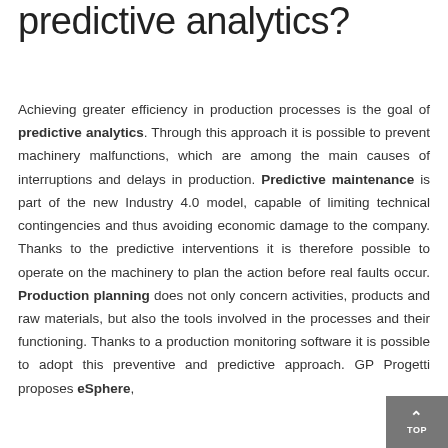predictive analytics?
Achieving greater efficiency in production processes is the goal of predictive analytics. Through this approach it is possible to prevent machinery malfunctions, which are among the main causes of interruptions and delays in production. Predictive maintenance is part of the new Industry 4.0 model, capable of limiting technical contingencies and thus avoiding economic damage to the company. Thanks to the predictive interventions it is therefore possible to operate on the machinery to plan the action before real faults occur. Production planning does not only concern activities, products and raw materials, but also the tools involved in the processes and their functioning. Thanks to a production monitoring software it is possible to adopt this preventive and predictive approach. GP Progetti proposes eSphere,